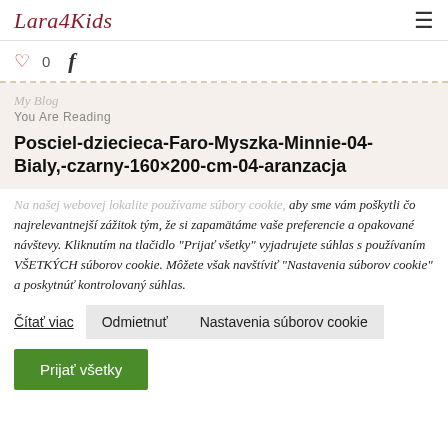Lara4Kids
0
My Blog
You Are Reading
Posciel-dziecieca-Faro-Myszka-Minnie-04-Bialy,-czarny-160×200-cm-04-aranzacja
Na našej webovej lokalite používame súbory cookie, aby sme vám poskytli čo najrelevantnejší zážitok tým, že si zapamätáme vaše preferencie a opakované návštevy. Kliknutím na tlačidlo "Prijať všetky" vyjadrujete súhlas s používaním VŠETKÝCH súborov cookie. Môžete však navštíviť "Nastavenia súborov cookie" a poskytnúť kontrolovaný súhlas.
Čítať viac
Odmietnuť
Nastavenia súborov cookie
Prijať všetky